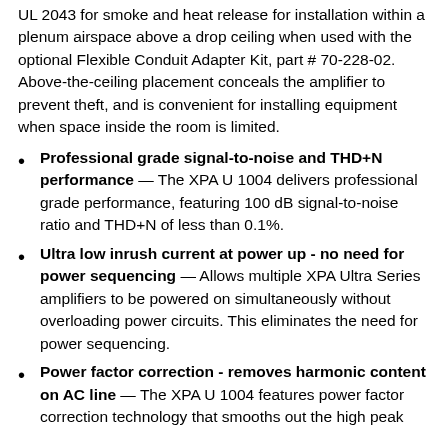UL 2043 for smoke and heat release for installation within a plenum airspace above a drop ceiling when used with the optional Flexible Conduit Adapter Kit, part # 70-228-02. Above-the-ceiling placement conceals the amplifier to prevent theft, and is convenient for installing equipment when space inside the room is limited.
Professional grade signal-to-noise and THD+N performance — The XPA U 1004 delivers professional grade performance, featuring 100 dB signal-to-noise ratio and THD+N of less than 0.1%.
Ultra low inrush current at power up - no need for power sequencing — Allows multiple XPA Ultra Series amplifiers to be powered on simultaneously without overloading power circuits. This eliminates the need for power sequencing.
Power factor correction - removes harmonic content on AC line — The XPA U 1004 features power factor correction technology that smooths out the high peak